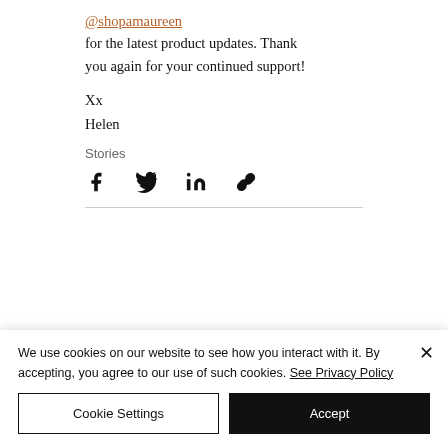Stay tuned and follow @shopamaureen for the latest product updates. Thank you again for your continued support!
Xx
Helen
Stories
[Figure (infographic): Social share icons: Facebook, Twitter, LinkedIn, and link/copy icon]
We use cookies on our website to see how you interact with it. By accepting, you agree to our use of such cookies. See Privacy Policy
Cookie Settings
Accept